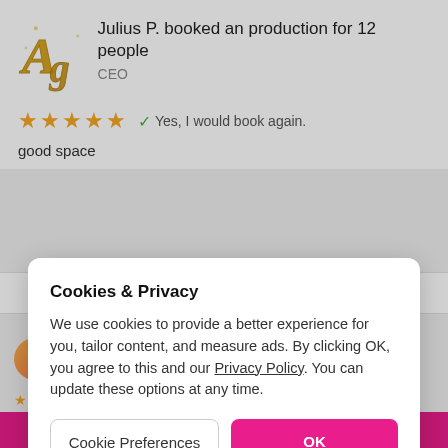Julius P. booked an production for 12 people
CEO
★★★★★  ✓ Yes, I would book again.
good space
Cookies & Privacy
We use cookies to provide a better experience for you, tailor content, and measure ads. By clicking OK, you agree to this and our Privacy Policy. You can update these options at any time.
Cookie Preferences | OK